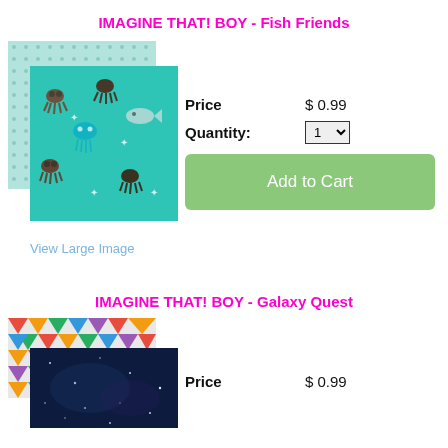IMAGINE THAT! BOY - Fish Friends
[Figure (photo): Stacked fabric swatches showing teal/aqua fabric with cartoon sea creatures (octopus, jellyfish, fish) pattern]
Price   $ 0.99
Quantity:   1
Add to Cart
View Large Image
IMAGINE THAT! BOY - Galaxy Quest
[Figure (photo): Stacked fabric swatches showing colorful geometric triangles pattern on top and dark navy/galaxy fabric below]
Price   $ 0.99